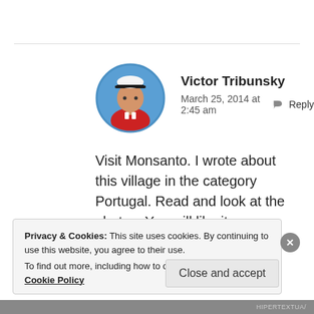[Figure (photo): Circular avatar photo of Victor Tribunsky wearing a white captain hat and red shirt]
Victor Tribunsky
March 25, 2014 at 2:45 am  ↩ Reply
Visit Monsanto. I wrote about this village in the category Portugal. Read and look at the photos. You will like it.
★ Like
Privacy & Cookies: This site uses cookies. By continuing to use this website, you agree to their use.
To find out more, including how to control cookies, see here: Cookie Policy
Close and accept